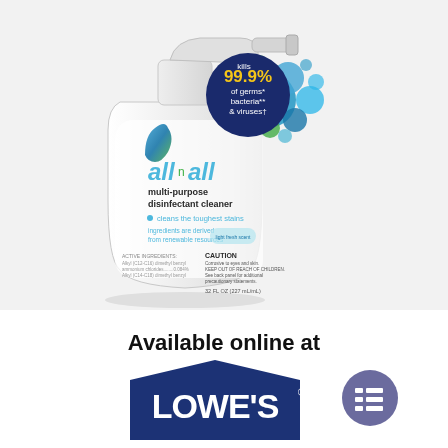[Figure (photo): Product photo of 'all n all' multi-purpose disinfectant cleaner spray bottle. White bottle with spray trigger. Label features blue/green bubble design, 'kills 99.9% of germs* bacteria** & viruses†' badge in dark navy circle with yellow text, brand name 'all n all' in teal italic font with green 'n', text 'multi-purpose disinfectant cleaner', bullet 'cleans the toughest stains', 'ingredients are derived from renewable resources', light blue oval badge, and small text for active ingredients and caution text at bottom.]
Available online at
[Figure (logo): Lowe's logo: dark navy blue house/pentagon shape with 'LOWE'S' text in bold white capital letters with registered trademark symbol. Beside it a purple/lavender circle button with a list/menu icon.]